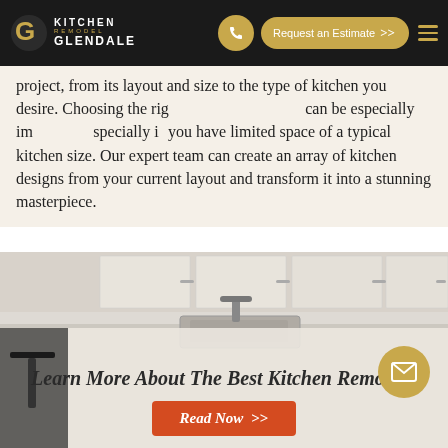Kitchen Remodel Glendale — Navigation bar with logo, phone button, Request an Estimate button, and hamburger menu
project, from its layout and size to the type of kitchen you desire. Choosing the right kitchen contractor can be especially important, especially if you have limited space or a typical kitchen size. Our expert team can create an array of kitchen designs from your current layout and transform it into a stunning masterpiece.
[Figure (photo): Kitchen interior photo showing white cabinets, countertop, and stainless steel sink with faucet]
Learn More About The Best Kitchen Remodel!
Read Now >>